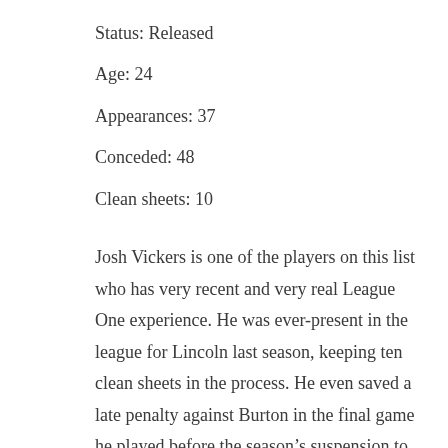Status: Released
Age: 24
Appearances: 37
Conceded: 48
Clean sheets: 10
Josh Vickers is one of the players on this list who has very recent and very real League One experience. He was ever-present in the league for Lincoln last season, keeping ten clean sheets in the process. He even saved a late penalty against Burton in the final game he played before the season’s suspension to